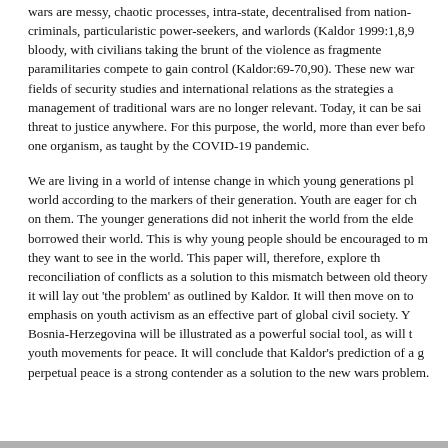wars are messy, chaotic processes, intra-state, decentralised from nations, criminals, particularistic power-seekers, and warlords (Kaldor 1999:1,8,9). bloody, with civilians taking the brunt of the violence as fragmented paramilitaries compete to gain control (Kaldor:69-70,90). These new wars fields of security studies and international relations as the strategies and management of traditional wars are no longer relevant. Today, it can be said threat to justice anywhere. For this purpose, the world, more than ever before, one organism, as taught by the COVID-19 pandemic.
We are living in a world of intense change in which young generations play world according to the markers of their generation. Youth are eager for change on them. The younger generations did not inherit the world from the elders, borrowed their world. This is why young people should be encouraged to make they want to see in the world. This paper will, therefore, explore the reconciliation of conflicts as a solution to this mismatch between old theory it will lay out 'the problem' as outlined by Kaldor. It will then move on to consider emphasis on youth activism as an effective part of global civil society. Youth Bosnia-Herzegovina will be illustrated as a powerful social tool, as will the youth movements for peace. It will conclude that Kaldor's prediction of a global perpetual peace is a strong contender as a solution to the new wars problem.